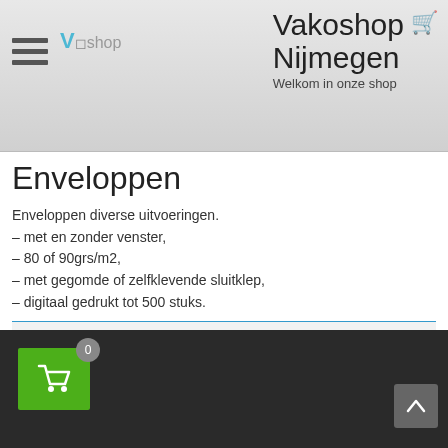Vakoshop Nijmegen – Welkom in onze shop
Enveloppen
Enveloppen diverse uitvoeringen.
– met en zonder venster,
– 80 of 90grs/m2,
– met gegomde of zelfklevende sluitklep,
– digitaal gedrukt tot 500 stuks.
Geen producten gevonden die aan je zoekcriteria voldoen.
0